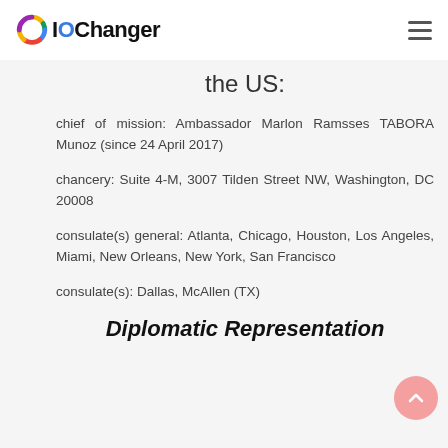IOChanger
the US:
chief of mission: Ambassador Marlon Ramsses TABORA Munoz (since 24 April 2017)
chancery: Suite 4-M, 3007 Tilden Street NW, Washington, DC 20008
consulate(s) general: Atlanta, Chicago, Houston, Los Angeles, Miami, New Orleans, New York, San Francisco
consulate(s): Dallas, McAllen (TX)
Diplomatic Representation